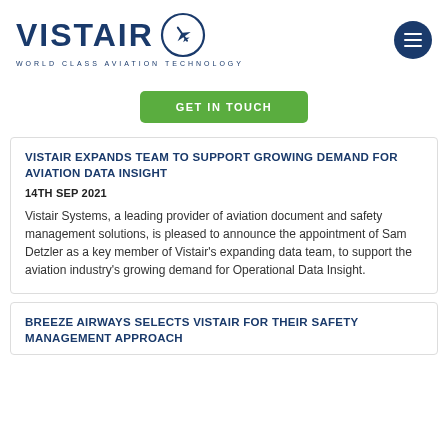VISTAIR WORLD CLASS AVIATION TECHNOLOGY
GET IN TOUCH
VISTAIR EXPANDS TEAM TO SUPPORT GROWING DEMAND FOR AVIATION DATA INSIGHT
14TH SEP 2021
Vistair Systems, a leading provider of aviation document and safety management solutions, is pleased to announce the appointment of Sam Detzler as a key member of Vistair's expanding data team, to support the aviation industry's growing demand for Operational Data Insight.
BREEZE AIRWAYS SELECTS VISTAIR FOR THEIR SAFETY MANAGEMENT APPROACH